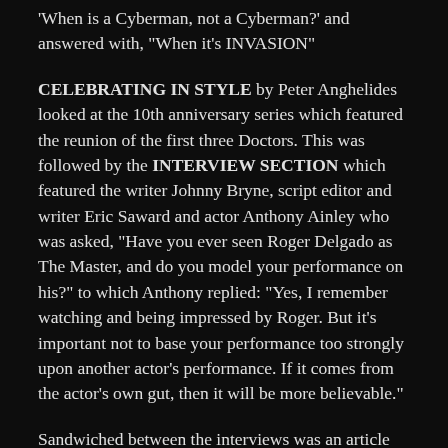When is a Cyberman, not a Cyberman?' and answered with, "When it's INVASION"
CELEBRATING IN STYLE by Peter Anghelides looked at the 10th anniversary series which featured the reunion of the first three Doctors. This was followed by the INTERVIEW SECTION which featured the writer Johnny Bryne, script editor and writer Eric Saward and actor Anthony Ainley who was asked, "Have you ever seen Roger Delgado as The Master, and do you model your performance on his?" to which Anthony replied: "Yes, I remember watching and being impressed by Roger. But it's important not to base your performance too strongly upon another actor's performance. If it comes from the actor's own gut, then it will be more believable."
Sandwiched between the interviews was an article by John Connors, THROUGH THE LOOKING GLASS which was a retrospective look at season nineteen. John